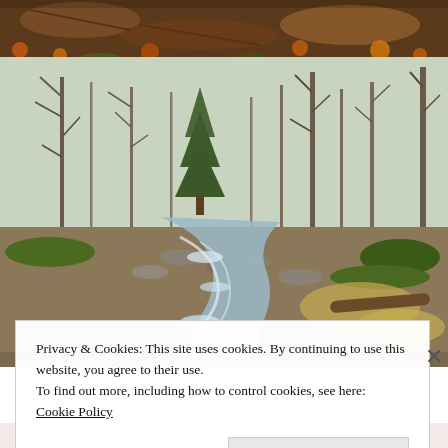[Figure (photo): Top portion of a forest scene showing fallen logs and autumn leaves on the ground, brown and orange tones]
[Figure (photo): A rocky stream flowing through a bare winter forest with leafless deciduous trees and a few evergreens, mossy banks]
Privacy & Cookies: This site uses cookies. By continuing to use this website, you agree to their use.
To find out more, including how to control cookies, see here: Cookie Policy
Close and accept